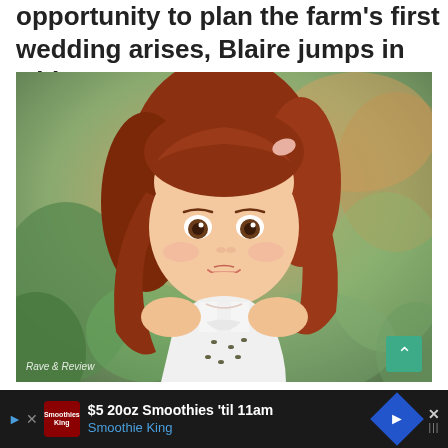opportunity to plan the farm's first wedding arises, Blaire jumps in with gusto.
[Figure (photo): Close-up photo of an American Girl doll with red/auburn hair and brown eyes, wearing a white dress with small bee/floral pattern, photographed outdoors with green bokeh background. Watermark reads 'Rave & Review'.]
However, between overextending herself to create the perfect farm-fancy event and a newly diagnosed food sensitivity that makes
$5 20oz Smoothies 'til 11am Smoothie King